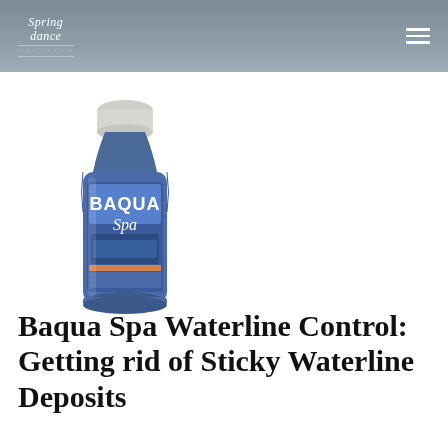Spring dance
[Figure (photo): Blue bottle of Baqua Spa product with white cap, showing the Baqua Spa logo on the label]
Baqua Spa Waterline Control: Getting rid of Sticky Waterline Deposits